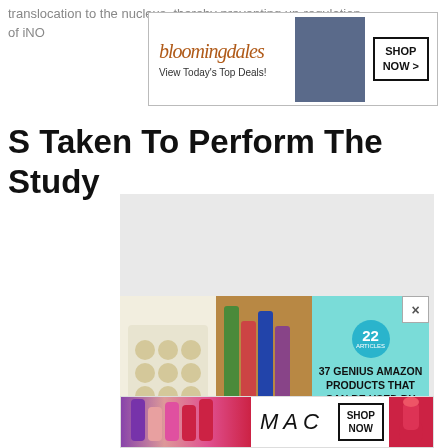translocation to the nucleus, thereby preventing up-regulation of iNO
[Figure (screenshot): Bloomingdales advertisement banner with logo, 'View Today's Top Deals!' tagline, fashion model image, and 'SHOP NOW >' button]
S Taken To Perform The Study
[Figure (screenshot): Large grey content placeholder box with embedded Amazon advertisement showing cookies tray and cosmetic products images, '22', '37 GENIUS AMAZON PRODUCTS THAT CAN BE USED BY ANYONE' text, and close button]
[Figure (screenshot): MAC cosmetics advertisement showing colorful lipsticks, MAC italic logo, 'SHOP NOW' button, and red lipstick]